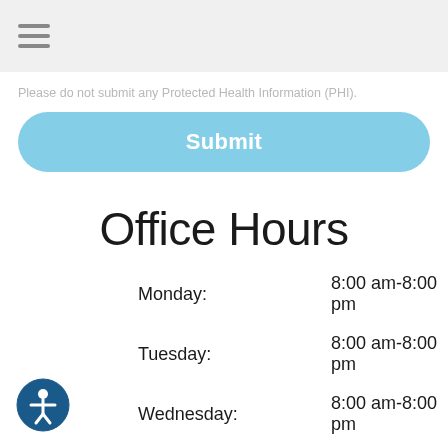Please do not submit any Protected Health Information (PHI).
Submit
Office Hours
| Day | Hours |
| --- | --- |
| Monday: | 8:00 am-8:00 pm |
| Tuesday: | 8:00 am-8:00 pm |
| Wednesday: | 8:00 am-8:00 pm |
| Thursday: | 8:00 am-8:00 pm |
| Friday: | Closed |
| Saturday: | 8:00 am-2:00 pm |